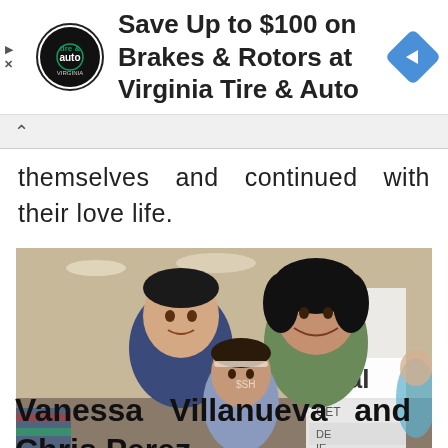[Figure (screenshot): Advertisement banner: Virginia Tire & Auto logo on left, text 'Save Up to $100 on Brakes & Rotors at Virginia Tire & Auto', blue diamond arrow icon on right. Play and close icons on far left.]
themselves and continued with their love life.
[Figure (photo): Photo of a man, a young girl, and a woman smiling together indoors at what appears to be a store or event. A banner with 'rival' text is visible in the background.]
Vanessa Villanueva and Chris Perez